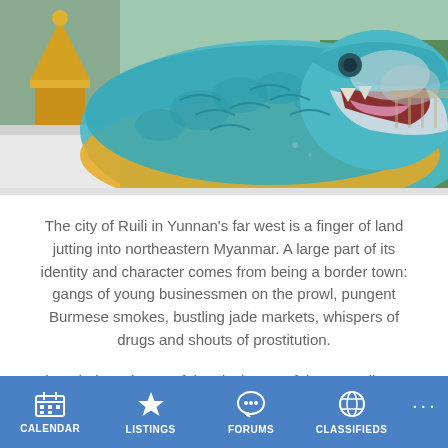[Figure (photo): Close-up photograph of a colorful turquoise and yellow dragon/naga statue with an open mouth, with a golden stupa visible in the background and green trees]
The city of Ruili in Yunnan's far west is a finger of land jutting into northeastern Myanmar. A large part of its identity and character comes from being a border town: gangs of young businessmen on the prowl, pungent Burmese smokes, bustling jade markets, whispers of drugs and shouts of prostitution.
The ethnic make-up of the city is one of the most diverse in China: Han Chinese, Burmese, Thai, Jingpo, Dai, Uighur and a
CALENDAR  LISTINGS  FORUMS  CLASSIFIEDS  ...